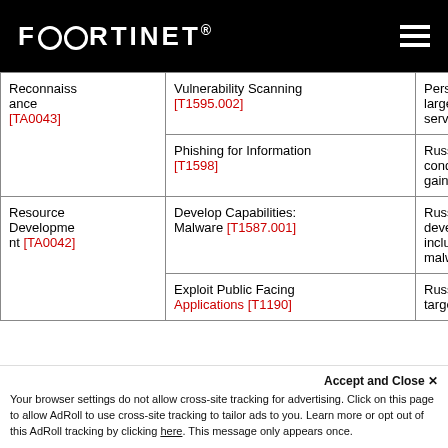FORTINET
| Tactic | Technique | Notes |
| --- | --- | --- |
| Reconnaissance [TA0043] | Vulnerability Scanning [T1595.002] | Persisten large-scale servers. |
| Reconnaissance [TA0043] | Phishing for Information [T1598] | Russian s conducted gain cred |
| Resource Development [TA0042] | Develop Capabilities: Malware [T1587.001] | Russian s developed including malware. |
| Resource Development [TA0042] | Exploit Public Facing Applications [T1190] | Russian s target pu |
Accept and Close ×
Your browser settings do not allow cross-site tracking for advertising. Click on this page to allow AdRoll to use cross-site tracking to tailor ads to you. Learn more or opt out of this AdRoll tracking by clicking here. This message only appears once.